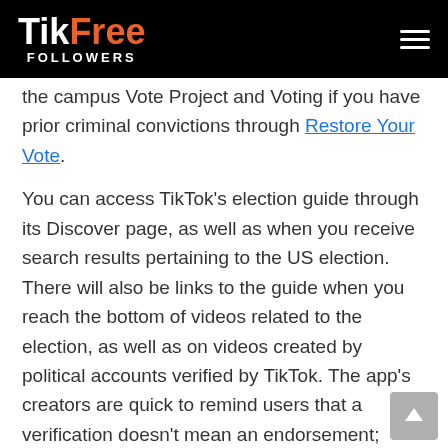TikFree FOLLOWERS
the campus Vote Project and Voting if you have prior criminal convictions through Restore Your Vote.
You can access TikTok's election guide through its Discover page, as well as when you receive search results pertaining to the US election. There will also be links to the guide when you reach the bottom of videos related to the election, as well as on videos created by political accounts verified by TikTok. The app's creators are quick to remind users that a verification doesn't mean an endorsement; TikTok merely verifies accounts to prove they're authentic, not to show that they're correct or that their position is one TikTok itself approves of. It's worth remembering that if you see content being shared by a verified account that later turns out to be spurious or